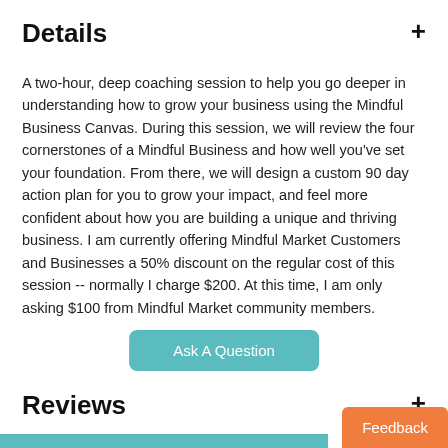Details
A two-hour, deep coaching session to help you go deeper in understanding how to grow your business using the Mindful Business Canvas. During this session, we will review the four cornerstones of a Mindful Business and how well you've set your foundation. From there, we will design a custom 90 day action plan for you to grow your impact, and feel more confident about how you are building a unique and thriving business. I am currently offering Mindful Market Customers and Businesses a 50% discount on the regular cost of this session -- normally I charge $200. At this time, I am only asking $100 from Mindful Market community members.
[Figure (other): Ask A Question button — teal rounded rectangle]
Reviews
[Figure (other): Feedback button — orange rounded rectangle at bottom right]